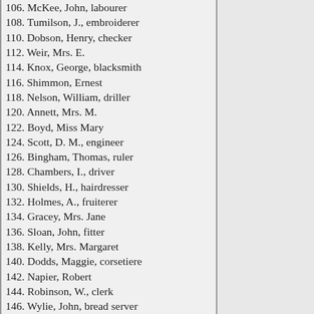106. McKee, John, labourer
108. Tumilson, J., embroiderer
110. Dobson, Henry, checker
112. Weir, Mrs. E.
114. Knox, George, blacksmith
116. Shimmon, Ernest
118. Nelson, William, driller
120. Annett, Mrs. M.
122. Boyd, Miss Mary
124. Scott, D. M., engineer
126. Bingham, Thomas, ruler
128. Chambers, I., driver
130. Shields, H., hairdresser
132. Holmes, A., fruiterer
134. Gracey, Mrs. Jane
136. Sloan, John, fitter
138. Kelly, Mrs. Margaret
140. Dodds, Maggie, corsetiere
142. Napier, Robert
144. Robinson, W., clerk
146. Wylie, John, bread server
148. Johnston, Mrs. Mary
150. Dorman, Mrs. A. M.
152. Hamilton, Mrs. M. J.
154. McVea, William, labourer
156. Christie, Mrs. A.